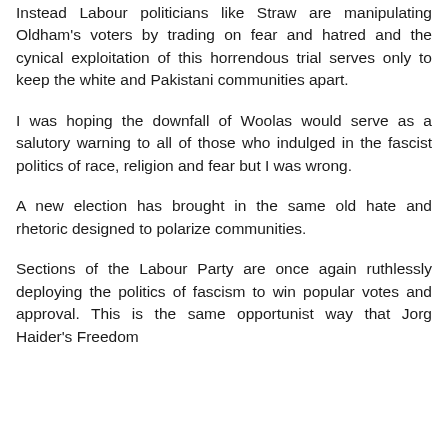Instead Labour politicians like Straw are manipulating Oldham's voters by trading on fear and hatred and the cynical exploitation of this horrendous trial serves only to keep the white and Pakistani communities apart.
I was hoping the downfall of Woolas would serve as a salutory warning to all of those who indulged in the fascist politics of race, religion and fear but I was wrong.
A new election has brought in the same old hate and rhetoric designed to polarize communities.
Sections of the Labour Party are once again ruthlessly deploying the politics of fascism to win popular votes and approval. This is the same opportunist way that Jorg Haider's Freedom Party...